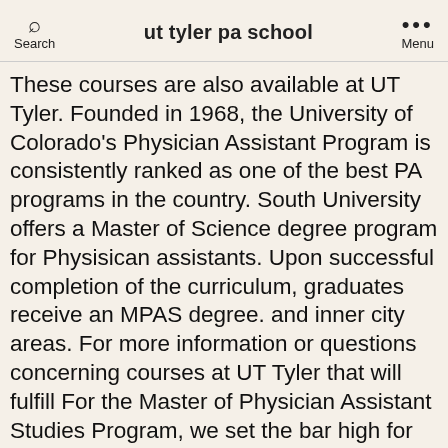ut tyler pa school | Search | Menu
These courses are also available at UT Tyler. Founded in 1968, the University of Colorado's Physician Assistant Program is consistently ranked as one of the best PA programs in the country. South University offers a Master of Science degree program for Physisican assistants. Upon successful completion of the curriculum, graduates receive an MPAS degree. and inner city areas. For more information or questions concerning courses at UT Tyler that will fulfill For the Master of Physician Assistant Studies Program, we set the bar high for our applicants. Texas Academy of Physician Assistants 401 W. 15th Street, Ste. Teachers Ut Tyler University Academy At Longview employs 16 teachers, who have been with the school an average of 2 years. The School's nursing graduates address the challenges of a dynamic health care delivery system by initiating resourceful solutions for health promotion, risk reduction, and disease management. Ms. Laura Owens The University of Texas at Tyler announced the School of Nursing was awarded a